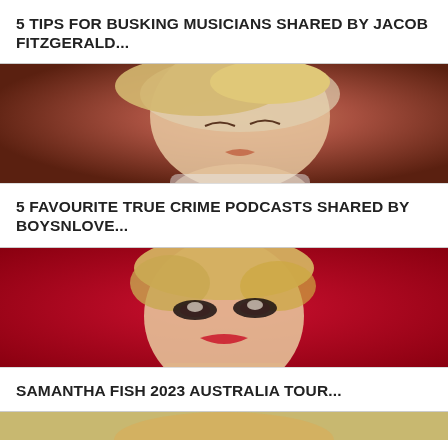5 TIPS FOR BUSKING MUSICIANS SHARED BY JACOB FITZGERALD...
[Figure (photo): Close-up photo of a blonde woman with eyes closed, head tilted back, warm reddish-brown background]
5 FAVOURITE TRUE CRIME PODCASTS SHARED BY BOYSNLOVE...
[Figure (photo): Close-up photo of a blonde woman with dramatic eye makeup looking upward against a bright red background]
SAMANTHA FISH 2023 AUSTRALIA TOUR...
[Figure (photo): Partial photo of a blonde person, only top of head visible, cropped at bottom of page]